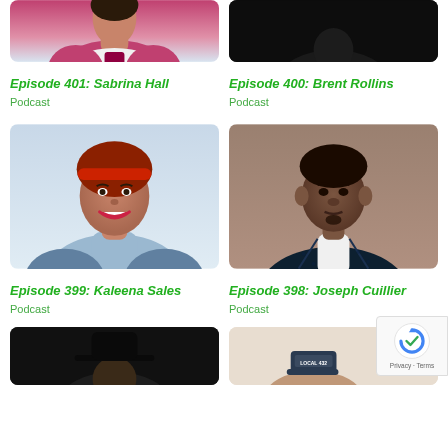[Figure (photo): Partial top of woman in pink/magenta outfit - Episode 401 Sabrina Hall]
[Figure (photo): Partial top of dark/black background photo - Episode 400 Brent Rollins]
Episode 401: Sabrina Hall
Podcast
Episode 400: Brent Rollins
Podcast
[Figure (photo): Portrait of Kaleena Sales - woman with red headband and natural hair, smiling, wearing light blue turtleneck]
[Figure (photo): Portrait of Joseph Cuillier - man in dark patterned blazer with white shirt, brown background]
Episode 399: Kaleena Sales
Podcast
Episode 398: Joseph Cuillier
Podcast
[Figure (photo): Partial bottom photo - man in black with dark hat]
[Figure (photo): Partial bottom photo - person with hat that reads Local 432]